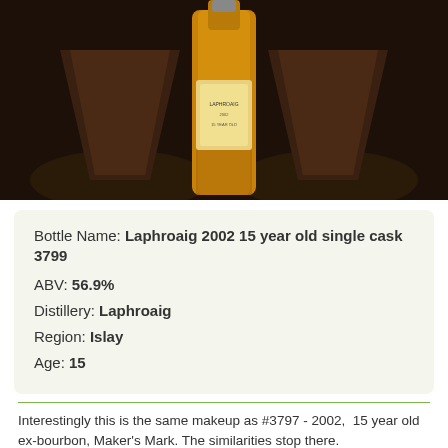[Figure (photo): Photo of a Laphroaig whisky bottle on a dark background with barrel/cask elements visible]
Bottle Name: Laphroaig 2002 15 year old single cask 3799
ABV: 56.9%
Distillery: Laphroaig
Region: Islay
Age: 15
Interestingly this is the same makeup as #3797 - 2002,  15 year old ex-bourbon, Maker's Mark. The similarities stop there.
Nose: Smoke,and a smattering of medicinal maritme peat -